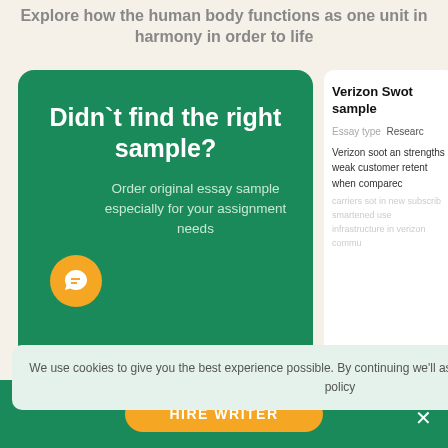Explore how the human body functions as one unit in harmony in order to life
Didn`t find the right sample? Order original essay sample especially for your assignment needs
[Figure (illustration): Green card with call-to-action for ordering essay samples, with orange chat bubble icon]
Verizon Swot sample
Essay type Research
Verizon soot an strengths weak customer retent when compared carriers sot in new subscrib smartened use infrastructure in verizon commu
We use cookies to give you the best experience possible. By continuing we'll assume you're on board with our cookie policy
HIRE WRITER